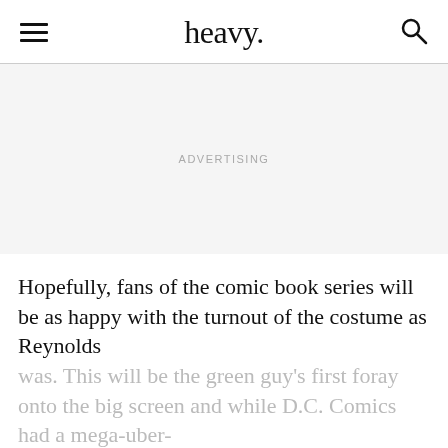heavy.
ADVERTISING
Hopefully, fans of the comic book series will be as happy with the turnout of the costume as Reynolds was. This will be the green guy's first foray onto the big screen and while D.C. Comics had a mega-uber-